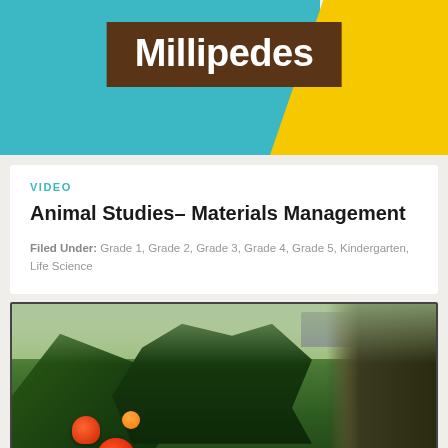[Figure (photo): Banner image showing 'Millipedes' title in white bold text on a dark brown box, set against a teal background on the left and yellow background on the right, with a circular sunflower logo in the bottom-right corner.]
VIDEO
Animal Studies– Materials Management
Filed Under: Grade 1, Grade 2, Grade 3, Grade 4, Grade 5, Kindergarten, Life Science
[Figure (photo): Photograph of a greenhouse interior showing lush green plants with red and orange hibiscus flowers in the foreground, dense tropical foliage in the middle, a gray building structure visible in the background, and dry grass-like plants on the right side.]